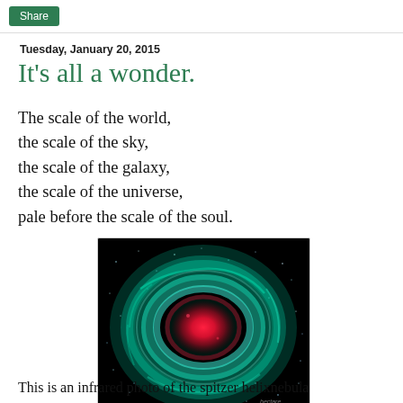Share
Tuesday, January 20, 2015
It's all a wonder.
The scale of the world,
the scale of the sky,
the scale of the galaxy,
the scale of the universe,
pale before the scale of the soul.
[Figure (photo): Infrared photo of the Spitzer Helix Nebula showing a cyan/teal ring-shaped nebula with a bright red/pink center against a black starfield background.]
This is an infrared photo of the spitzer helixnebula